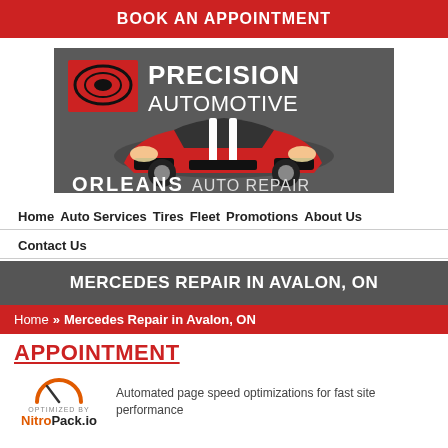BOOK AN APPOINTMENT
[Figure (logo): Precision Automotive Orleans Auto Repair logo with red sports car on grey background]
Home Auto Services Tires Fleet Promotions About Us
Contact Us
MERCEDES REPAIR IN AVALON, ON
Home >> Mercedes Repair in Avalon, ON
APPOINTMENT
Automated page speed optimizations for fast site performance